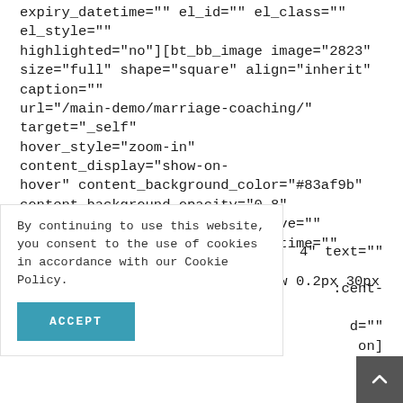expiry_datetime="" el_id="" el_class="" el_style="" highlighted="no"][bt_bb_image image="2823" size="full" shape="square" align="inherit" caption="" url="/main-demo/marriage-coaching/" target="_self" hover_style="zoom-in" content_display="show-on-hover" content_background_color="#83af9b" content_background_opacity="0.8" content_align="middle" responsive="" publish_datetime="" expiry_datetime="" el_id="" el_class="" el_style="box-shadow 0.2px 30px
4" text=""
By continuing to use this website, you consent to the use of cookies in accordance with our Cookie Policy.
:cent- onsive="" d="" on]
ACCEPT